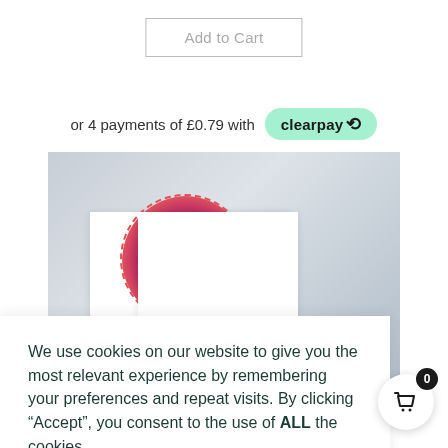Add to Cart
or 4 payments of £0.79 with clearpay
[Figure (photo): Product image area showing a circular sticker with a cartoon figure on a white card, set against a grey gradient background]
We use cookies on our website to give you the most relevant experience by remembering your preferences and repeat visits. By clicking “Accept”, you consent to the use of ALL the cookies.
Cookie settings
ACCEPT